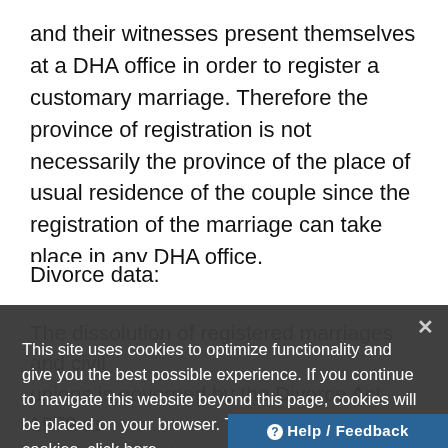and their witnesses present themselves at a DHA office in order to register a customary marriage. Therefore the province of registration is not necessarily the province of the place of usual residence of the couple since the registration of the marriage can take place in any DHA office.
Divorce data:
The dissolution of registered marriages and civil unions is governed by the Divorce Act 1979 as amended, and its associated regulations (Act No.70 of 1979) and the Jurisdiction of Regional Courts Amendment Act 2008 (Act No. 23 of 2008) as amended which came into effect on 9 August 2010. The South African Department of Justice and Constitutional Development (DJCD) is responsible...
This site uses cookies to optimize functionality and give you the best possible experience. If you continue to navigate this website beyond this page, cookies will be placed on your browser. To learn more about cookies, click here.